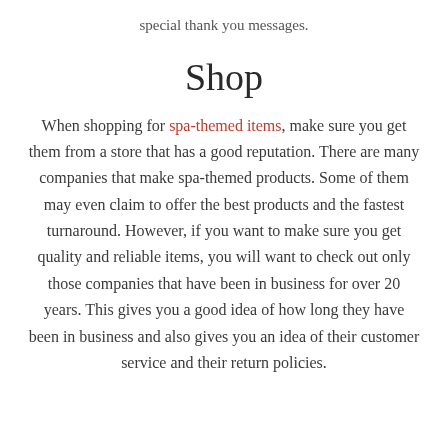special thank you messages.
Shop
When shopping for spa-themed items, make sure you get them from a store that has a good reputation. There are many companies that make spa-themed products. Some of them may even claim to offer the best products and the fastest turnaround. However, if you want to make sure you get quality and reliable items, you will want to check out only those companies that have been in business for over 20 years. This gives you a good idea of how long they have been in business and also gives you an idea of their customer service and their return policies.